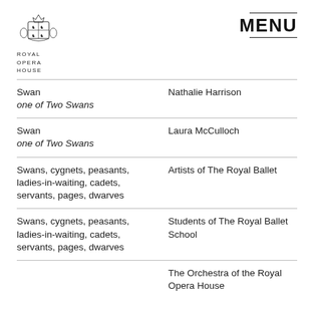[Figure (logo): Royal Opera House coat of arms logo with text ROYAL OPERA HOUSE below]
MENU
| Role | Performer |
| --- | --- |
| Swan
one of Two Swans | Nathalie Harrison |
| Swan
one of Two Swans | Laura McCulloch |
| Swans, cygnets, peasants, ladies-in-waiting, cadets, servants, pages, dwarves | Artists of The Royal Ballet |
| Swans, cygnets, peasants, ladies-in-waiting, cadets, servants, pages, dwarves | Students of The Royal Ballet School |
|  | The Orchestra of the Royal Opera House |